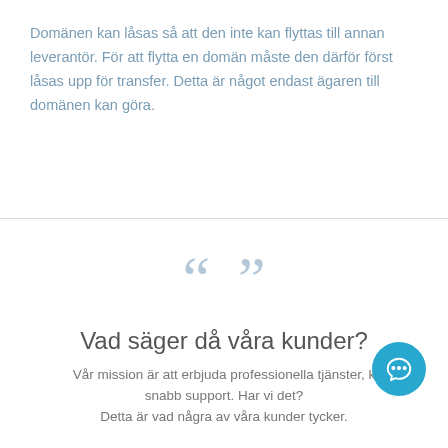Domänen kan låsas så att den inte kan flyttas till annan leverantör. För att flytta en domän måste den därför först låsas upp för transfer. Detta är något endast ägaren till domänen kan göra.
[Figure (illustration): Large decorative quotation marks (open and close) in light blue-grey color]
Vad säger då våra kunder?
Vår mission är att erbjuda professionella tjänster, k snabb support. Har vi det? Detta är vad några av våra kunder tycker.